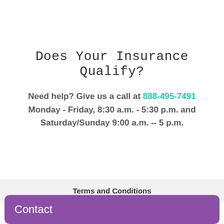Does Your Insurance Qualify?
Need help? Give us a call at 888-495-7491 Monday - Friday, 8:30 a.m. - 5:30 p.m. and Saturday/Sunday 9:00 a.m. -- 5 p.m.
Terms and Conditions
Contact